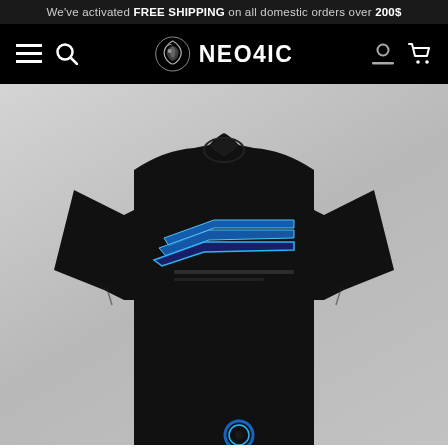We've activated FREE SHIPPING on all domestic orders over 200$
[Figure (screenshot): NEO4IC brand navigation bar with hamburger menu, search icon, NEO4IC logo with dragon emblem, user account icon, and shopping cart icon on black background]
[Figure (photo): Black long-sleeve shirt with blue neon-style graphic text design on chest, displayed on headless mannequin against light grey gradient background. Blue circular ring detail visible at bottom hem.]